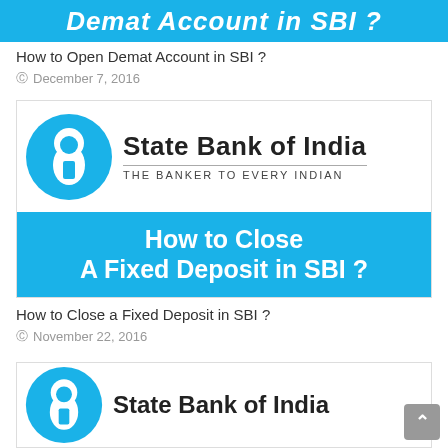[Figure (screenshot): Partial blue banner with white bold italic text: 'Demat Account in SBI ?']
How to Open Demat Account in SBI ?
December 7, 2016
[Figure (screenshot): SBI logo card showing State Bank of India logo with keyhole symbol and 'THE BANKER TO EVERY INDIAN' tagline, with blue banner below reading 'How to Close A Fixed Deposit in SBI ?']
How to Close a Fixed Deposit in SBI ?
November 22, 2016
[Figure (screenshot): Partial SBI logo card showing State Bank of India logo and text, partially cut off at bottom of page]